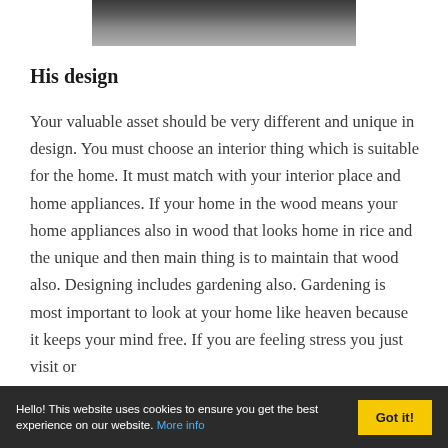[Figure (photo): Partial photo at top of page showing what appears to be a dark vehicle/car near a building with greenery in the background]
His design
Your valuable asset should be very different and unique in design. You must choose an interior thing which is suitable for the home. It must match with your interior place and home appliances. If your home in the wood means your home appliances also in wood that looks home in rice and the unique and then main thing is to maintain that wood also. Designing includes gardening also. Gardening is most important to look at your home like heaven because it keeps your mind free. If you are feeling stress you just visit or
Hello! This website uses cookies to ensure you get the best experience on our website. More info